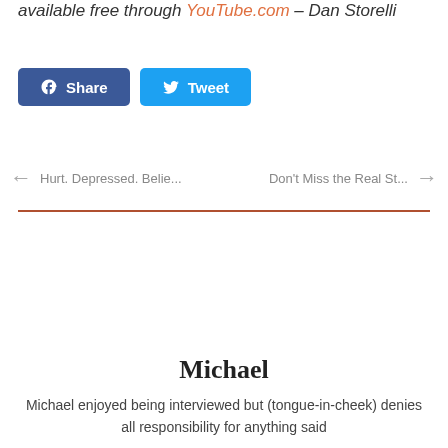available free through YouTube.com – Dan Storelli
[Figure (other): Facebook Share button and Twitter Tweet button]
← Hurt. Depressed. Belie...   Don't Miss the Real St... →
Michael
Michael enjoyed being interviewed but (tongue-in-cheek) denies all responsibility for anything said